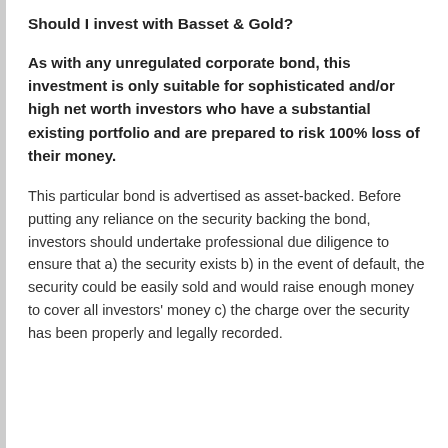Should I invest with Basset & Gold?
As with any unregulated corporate bond, this investment is only suitable for sophisticated and/or high net worth investors who have a substantial existing portfolio and are prepared to risk 100% loss of their money.
This particular bond is advertised as asset-backed. Before putting any reliance on the security backing the bond, investors should undertake professional due diligence to ensure that a) the security exists b) in the event of default, the security could be easily sold and would raise enough money to cover all investors' money c) the charge over the security has been properly and legally recorded.